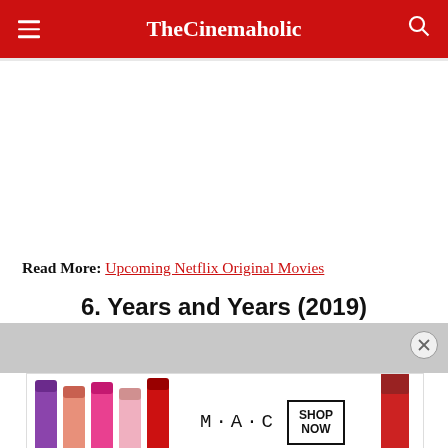TheCinemaholic
Read More: Upcoming Netflix Original Movies
6. Years and Years (2019)
[Figure (photo): MAC lipstick advertisement banner with colorful lipsticks and SHOP NOW button]